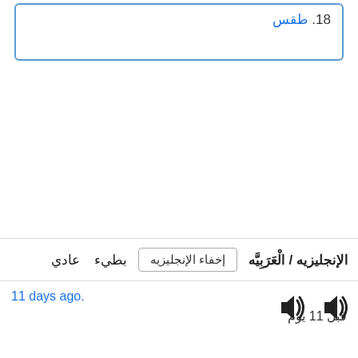18. طقس
الإنجليزيه / الْعَرَبِيَّه   إخفاء الإنجليزيه   عادي   بطيء
11 days ago.
قبل 11 يوم